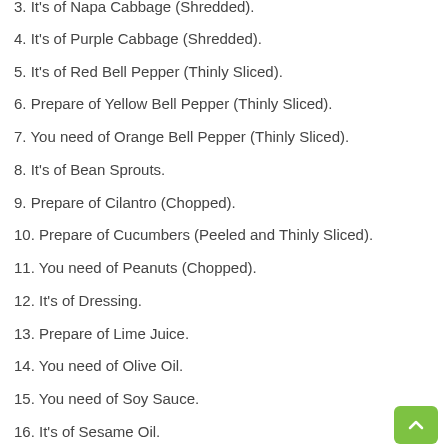3. It's of Napa Cabbage (Shredded).
4. It's of Purple Cabbage (Shredded).
5. It's of Red Bell Pepper (Thinly Sliced).
6. Prepare of Yellow Bell Pepper (Thinly Sliced).
7. You need of Orange Bell Pepper (Thinly Sliced).
8. It's of Bean Sprouts.
9. Prepare of Cilantro (Chopped).
10. Prepare of Cucumbers (Peeled and Thinly Sliced).
11. You need of Peanuts (Chopped).
12. It's of Dressing.
13. Prepare of Lime Juice.
14. You need of Olive Oil.
15. You need of Soy Sauce.
16. It's of Sesame Oil.
17. It's of Brown Sugar.
18. It's of Ginger (Fresh and Finely Chopped).
19. Prepare of Garlic (Finely Chopped).